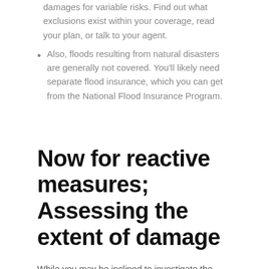damages for variable risks. Find out what exclusions exist within your coverage, read your plan, or talk to your agent.
Also, floods resulting from natural disasters are generally not covered. You'll likely need separate flood insurance, which you can get from the National Flood Insurance Program.
Now for reactive measures; Assessing the extent of damage
While you may be inclined to investigate the damage immediately after a storm, it's imperative to ensure your safety when checking for damage around and to your home. Dangers like downed power lines pose a deadly threat as well as wildlife like...